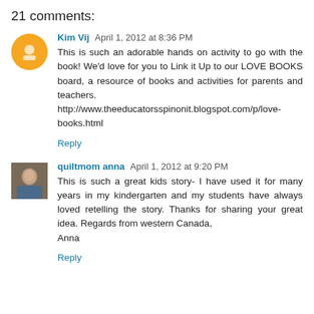21 comments:
Kim Vij April 1, 2012 at 8:36 PM
This is such an adorable hands on activity to go with the book! We'd love for you to Link it Up to our LOVE BOOKS board, a resource of books and activities for parents and teachers.
http://www.theeducatorsspinonit.blogspot.com/p/love-books.html
Reply
quiltmom anna April 1, 2012 at 9:20 PM
This is such a great kids story- I have used it for many years in my kindergarten and my students have always loved retelling the story. Thanks for sharing your great idea. Regards from western Canada,
Anna
Reply